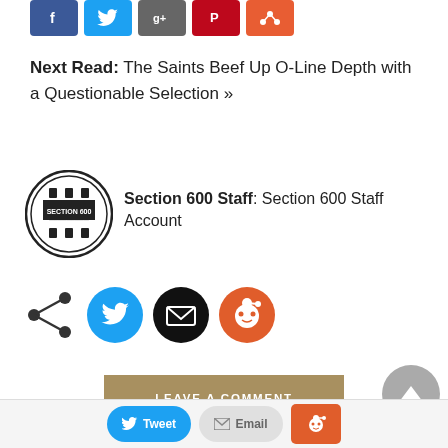[Figure (other): Row of social share buttons: Facebook (blue), Twitter (light blue), Google+ (gray), Pinterest (red), orange share button]
Next Read: The Saints Beef Up O-Line Depth with a Questionable Selection »
[Figure (logo): Section 600 circular logo badge in black and white]
Section 600 Staff: Section 600 Staff Account
[Figure (other): Social sharing icons row: share icon (dark), Twitter (blue circle), Email (black circle), Reddit (orange circle)]
[Figure (other): Leave a Comment button in tan/gold color]
[Figure (other): Scroll to top triangle button (gray circle)]
[Figure (other): Bottom bar with Twitter (blue pill), Email (gray pill), Reddit (orange square) share buttons]